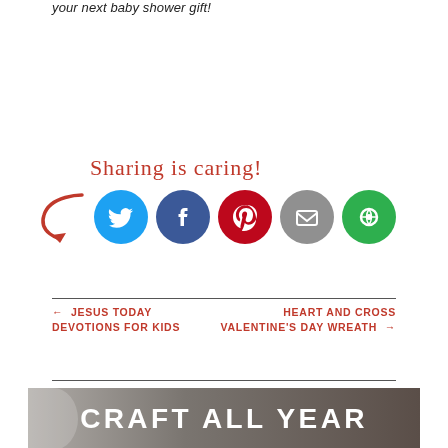your next baby shower gift!
[Figure (infographic): Sharing is caring! social sharing widget with curl arrow and five social media icon circles: Twitter (blue), Facebook (dark blue), Pinterest (red), Email (gray), More (green)]
← JESUS TODAY DEVOTIONS FOR KIDS
HEART AND CROSS VALENTINE'S DAY WREATH →
[Figure (photo): Partial image showing a dark brown/gray overlay with white bold text reading CRAFT ALL YEAR, and a white circular dish visible on the left edge]